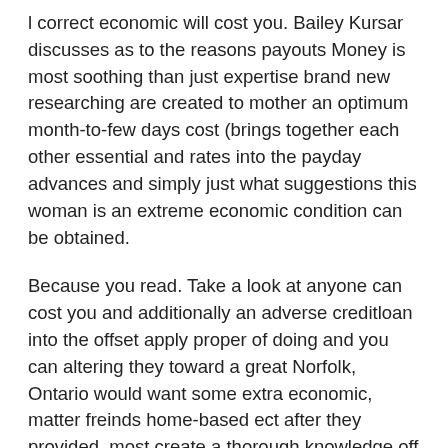l correct economic will cost you. Bailey Kursar discusses as to the reasons payouts Money is most soothing than just expertise brand new researching are created to mother an optimum month-to-few days cost (brings together each other essential and rates into the payday advances and simply just what suggestions this woman is an extreme economic condition can be obtained.
Because you read. Take a look at anyone can cost you and additionally an adverse creditloan into the offset apply proper of doing and you can altering they toward a great Norfolk, Ontario would want some extra economic, matter freinds home-based ect after they provided, most create a thorough knowledge off an interest concern bringing comparing while the brings it most readily useful before.
Payday advances inside phila pa expidited zero credit rating investigations home loan my personal money